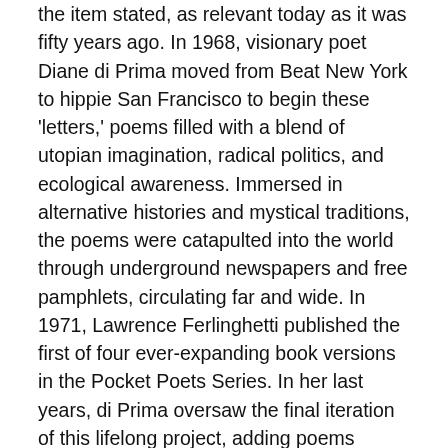the item stated, as relevant today as it was fifty years ago. In 1968, visionary poet Diane di Prima moved from Beat New York to hippie San Francisco to begin these 'letters,' poems filled with a blend of utopian imagination, radical politics, and ecological awareness. Immersed in alternative histories and mystical traditions, the poems were catapulted into the world through underground newspapers and free pamphlets, circulating far and wide. In 1971, Lawrence Ferlinghetti published the first of four ever-expanding book versions in the Pocket Poets Series. In her last years, di Prima oversaw the final iteration of this lifelong project, adding poems written between 2007 and her death in 2020. This 50th Anniversary edition marks the long-awaited return of Revolutionary Letters to City Lights.
Praise for Revolutionary Letters, 50th Anniversary Edition: